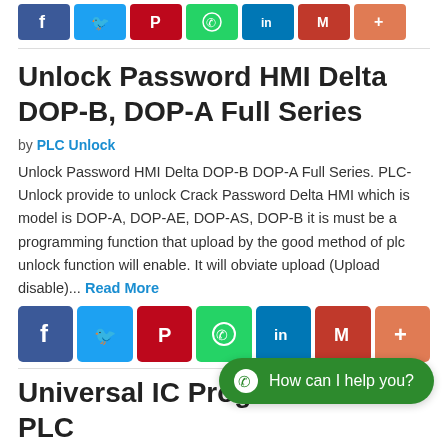[Figure (other): Row of social media share buttons (Facebook, Twitter, Pinterest, WhatsApp, LinkedIn, Gmail, More) shown partially at top]
Unlock Password HMI Delta DOP-B, DOP-A Full Series
by PLC Unlock
Unlock Password HMI Delta DOP-B DOP-A Full Series. PLC-Unlock provide to unlock Crack Password Delta HMI which is model is DOP-A, DOP-AE, DOP-AS, DOP-B it is must be a programming function that upload by the good method of plc unlock function will enable. It will obviate upload (Upload disable)... Read More
[Figure (other): Row of social media share buttons (Facebook, Twitter, Pinterest, WhatsApp, LinkedIn, Gmail, More)]
[Figure (other): WhatsApp floating chat button: How can I help you?]
Universal IC Programmer for PLC